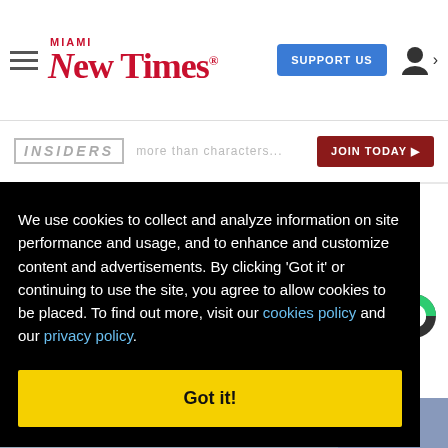Miami New Times — SUPPORT US | user icon
INSIDERS — JOIN TODAY
We use cookies to collect and analyze information on site performance and usage, and to enhance and customize content and advertisements. By clicking 'Got it' or continuing to use the site, you agree to allow cookies to be placed. To find out more, visit our cookies policy and our privacy policy.
Got it!